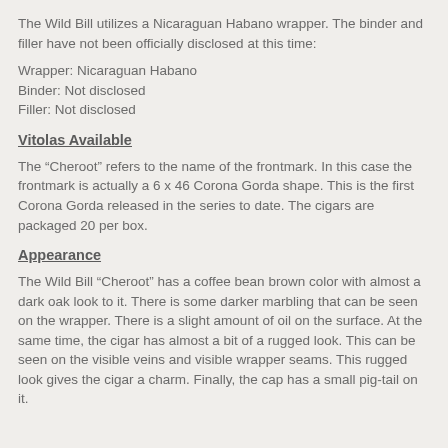The Wild Bill utilizes a Nicaraguan Habano wrapper.  The binder and filler have not been officially disclosed at this time:
Wrapper: Nicaraguan Habano
Binder: Not disclosed
Filler: Not disclosed
Vitolas Available
The “Cheroot” refers to the name of the frontmark.  In this case the frontmark is actually a 6 x 46 Corona Gorda shape.  This is the first Corona Gorda released in the series to date.  The cigars are packaged 20 per box.
Appearance
The Wild Bill “Cheroot” has a coffee bean brown color with almost a dark oak look to it.  There is some darker marbling that can be seen on the wrapper.  There is a slight amount of oil on the surface.  At the same time, the cigar has almost a bit of a rugged look.  This can be seen on the visible veins and visible wrapper seams.  This rugged look gives the cigar a charm.   Finally, the cap has a small pig-tail on it.